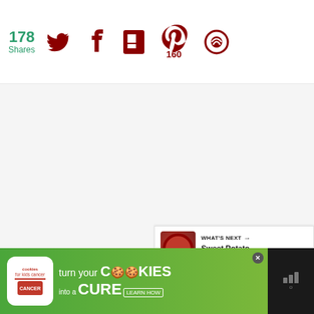[Figure (screenshot): Social share bar with 178 Shares count, Twitter icon, Facebook icon, Flipboard icon, Pinterest icon with 160 count, and another social icon]
[Figure (screenshot): Main content area (mostly blank/white), with floating teal heart/like button and white share button on right side, plus What's Next card showing Sweet Potato Rice Puddin... and Mediavine logo]
[Figure (screenshot): Advertisement banner: Cookies for Kids Cancer - turn your COOKIES into a CURE LEARN HOW, with Mediavine logo on right side]